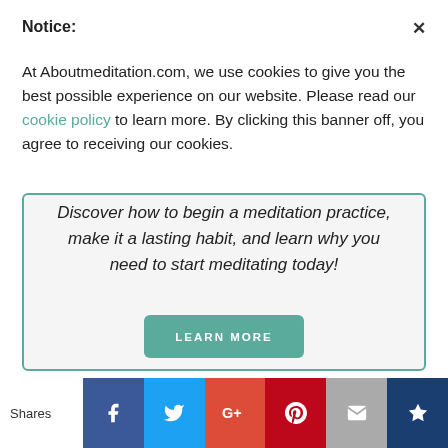Notice:
At Aboutmeditation.com, we use cookies to give you the best possible experience on our website. Please read our cookie policy to learn more. By clicking this banner off, you agree to receiving our cookies.
[Figure (infographic): Promotional box with italic text: 'Discover how to begin a meditation practice, make it a lasting habit, and learn why you need to start meditating today!' and a teal 'LEARN MORE' button]
Shares
[Figure (infographic): Social sharing bar with icons: Facebook (blue), Twitter (light blue), Google+ (red-orange), Pinterest (dark red), Email (gray), Crown/bookmark (dark blue)]